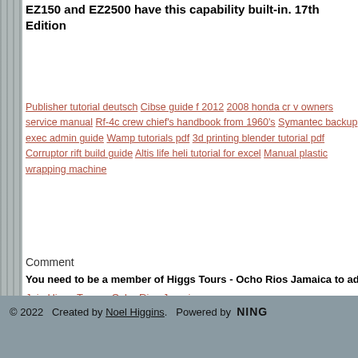EZ150 and EZ2500 have this capability built-in. 17th Edition
Publisher tutorial deutsch Cibse guide f 2012 2008 honda cr v owners service manual Rf-4c crew chief's handbook from 1960's Symantec backup exec admin guide Wamp tutorials pdf 3d printing blender tutorial pdf Corruptor rift build guide Altis life heli tutorial for excel Manual plastic wrapping machine
Comment
You need to be a member of Higgs Tours - Ocho Rios Jamaica to add comme
Join Higgs Tours - Ocho Rios Jamaica
© 2022   Created by Noel Higgins.   Powered by  NING